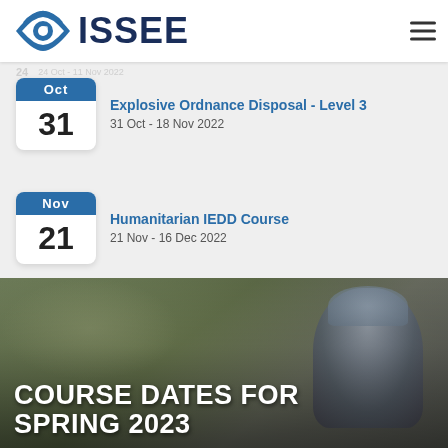[Figure (logo): ISSEE logo with eye icon and bold dark blue text 'ISSEE']
Explosive Ordnance Disposal - Level 3
31 Oct - 18 Nov 2022
Humanitarian IEDD Course
21 Nov - 16 Dec 2022
[Figure (photo): Blurry outdoor photo showing ground/excavation scene and a figure wearing a grey cap, with overlaid text 'COURSE DATES FOR SPRING 2023']
COURSE DATES FOR
SPRING 2023